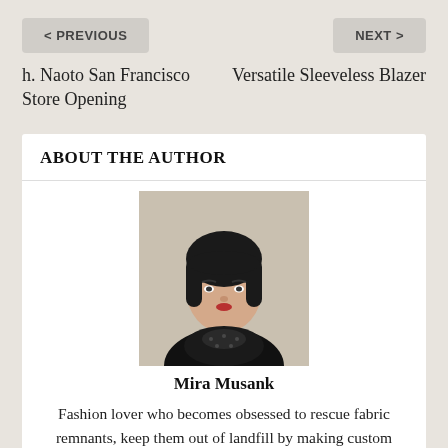< PREVIOUS   NEXT >
h. Naoto San Francisco Store Opening
Versatile Sleeveless Blazer
ABOUT THE AUTHOR
[Figure (photo): Portrait photo of Mira Musank, a young woman with a short dark bob haircut wearing a black lace top]
Mira Musank
Fashion lover who becomes obsessed to rescue fabric remnants, keep them out of landfill by making custom garments and accessories. Occasionally takes a break to play